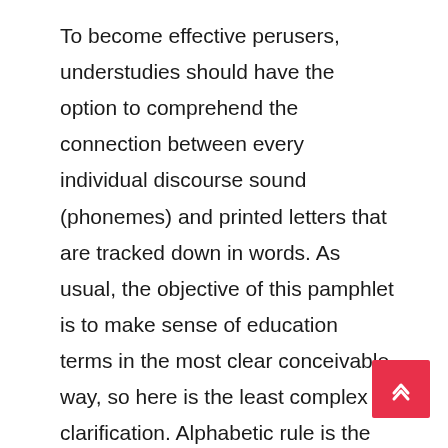To become effective perusers, understudies should have the option to comprehend the connection between every individual discourse sound (phonemes) and printed letters that are tracked down in words. As usual, the objective of this pamphlet is to make sense of education terms in the most clear conceivable way, so here is the least complex clarification. Alphabetic rule is the comprehension that there is an immediate connection between each verbally expressed letter sound and the composed images that addresses each verbally expressed letter sound. For insta on the off chance that the instructor says the letter l or utters the letter l, an understudy ought to